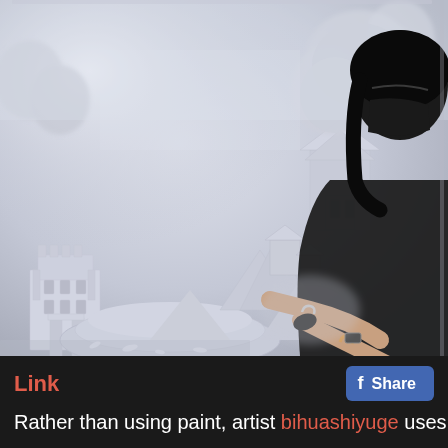[Figure (photo): A person wearing a black mask and dark clothing working on a large white plaster relief sculpture depicting a Chinese landscape with buildings, trees, and architectural structures. The artist is using tools to carve or shape the white plaster artwork.]
Link
f Share
Rather than using paint, artist bihuashiyuge uses plaster as